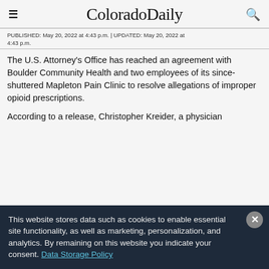ColoradoDaily
PUBLISHED: May 20, 2022 at 4:43 p.m. | UPDATED: May 20, 2022 at 4:43 p.m.
The U.S. Attorney's Office has reached an agreement with Boulder Community Health and two employees of its since-shuttered Mapleton Pain Clinic to resolve allegations of improper opioid prescriptions.
According to a release, Christopher Kreider, a physician
This website stores data such as cookies to enable essential site functionality, as well as marketing, personalization, and analytics. By remaining on this website you indicate your consent. Data Storage Policy